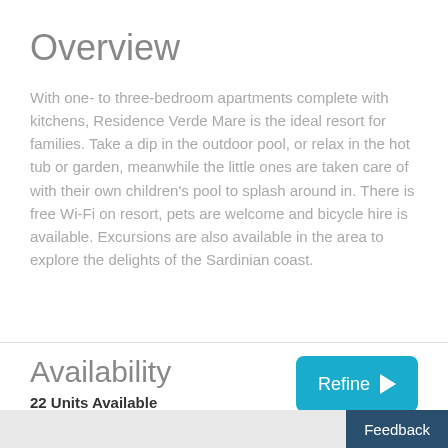Overview
With one- to three-bedroom apartments complete with kitchens, Residence Verde Mare is the ideal resort for families. Take a dip in the outdoor pool, or relax in the hot tub or garden, meanwhile the little ones are taken care of with their own children's pool to splash around in. There is free Wi-Fi on resort, pets are welcome and bicycle hire is available. Excursions are also available in the area to explore the delights of the Sardinian coast.
Availability
22 Units Available
Refine
Feedback